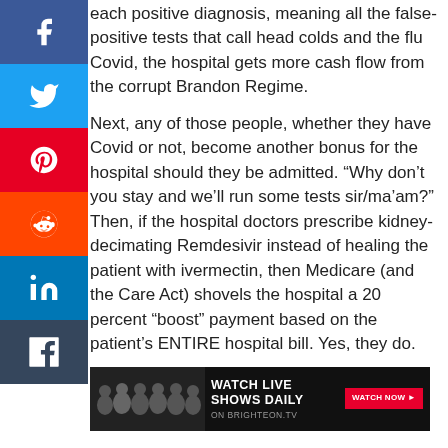each positive diagnosis, meaning all the false-positive tests that call head colds and the flu Covid, the hospital gets more cash flow from the corrupt Brandon Regime.
Next, any of those people, whether they have Covid or not, become another bonus for the hospital should they be admitted. “Why don’t you stay and we’ll run some tests sir/ma’am?” Then, if the hospital doctors prescribe kidney-decimating Remdesivir instead of healing the patient with ivermectin, then Medicare (and the Care Act) shovels the hospital a 20 percent “boost” payment based on the patient’s ENTIRE hospital bill. Yes, they do.
[Figure (other): Advertisement banner: Watch Live Shows Daily on Brighteon.TV with Watch Now button]